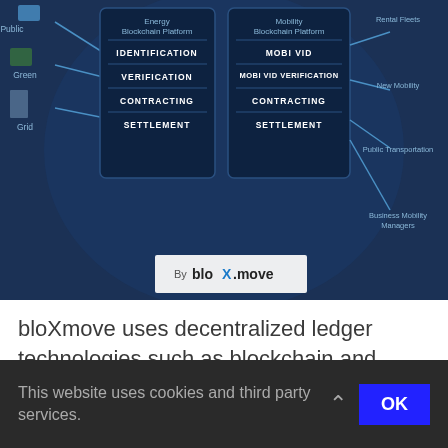[Figure (infographic): Blockchain mobility platform infographic by bloXmove showing Energy Blockchain Platform (with IDENTIFICATION, VERIFICATION, CONTRACTING, SETTLEMENT) and Mobility Blockchain Platform (with MOBI VID, MOBI VID VERIFICATION, CONTRACTING, SETTLEMENT) connecting Public, Green, Grid sources on the left to Rental Fleets, New Mobility, Public Transportation, Business Mobility Managers on the right. Branded 'By bloXmove'.]
bloXmove uses decentralized ledger technologies such as blockchain and decentralized identifiers (DIDs) to create a protocol that enables broad collaboration between competing mobility providers. Our Blockchain Mobility Platform gives users a 1-click solution for an end-to-end mobility experience across various modes of transportation. To fully capitalize on the new level
This website uses cookies and third party services.